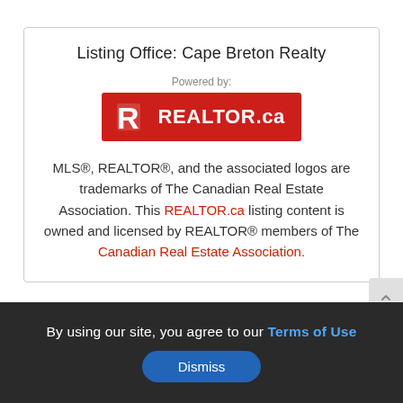Listing Office: Cape Breton Realty
[Figure (logo): REALTOR.ca logo — red rectangle with white R icon and REALTOR.ca text in white]
MLS®, REALTOR®, and the associated logos are trademarks of The Canadian Real Estate Association. This REALTOR.ca listing content is owned and licensed by REALTOR® members of The Canadian Real Estate Association.
Map Lot 11 South Harbour, Sampsonville, Nova Scotia, B0E3B0
By using our site, you agree to our Terms of Use